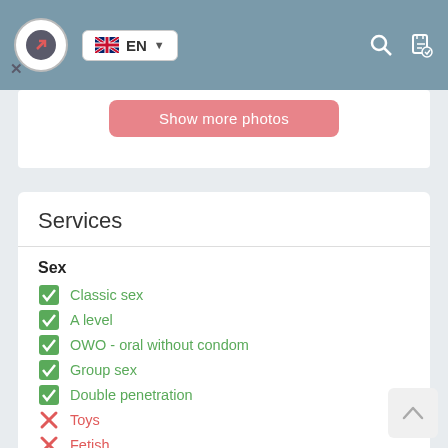EN
Show more photos
Services
Sex
Classic sex
A level
OWO - oral without condom
Group sex
Double penetration
Toys
Fetish
Additionally
Escort